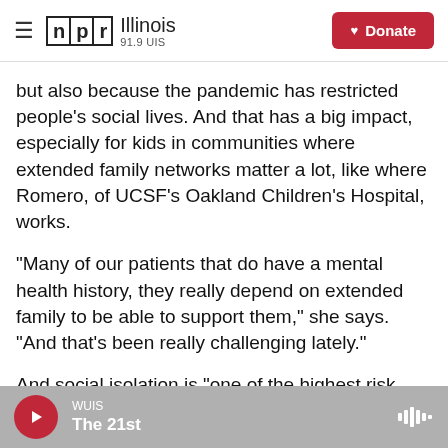NPR Illinois 91.9 UIS — Donate
but also because the pandemic has restricted people's social lives. And that has a big impact, especially for kids in communities where extended family networks matter a lot, like where Romero, of UCSF's Oakland Children's Hospital, works.
"Many of our patients that do have a mental health history, they really depend on extended family to be able to support them," she says. "And that's been really challenging lately."
And social isolation is "one of the highest risk factors," for suicide, she says.
WUIS — The 21st